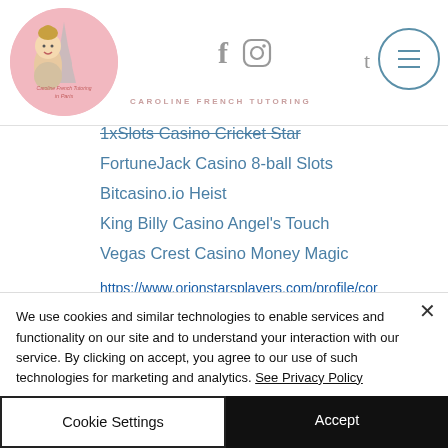[Figure (logo): Caroline French Tutoring in Paris logo — circular pink badge with cartoon illustration of a woman and Eiffel Tower]
CAROLINE FRENCH TUTORING
1xSlots Casino Cricket Star
FortuneJack Casino 8-ball Slots
Bitcasino.io Heist
King Billy Casino Angel's Touch
Vegas Crest Casino Money Magic
https://www.orionstarsplayers.com/profile/cor
We use cookies and similar technologies to enable services and functionality on our site and to understand your interaction with our service. By clicking on accept, you agree to our use of such technologies for marketing and analytics. See Privacy Policy